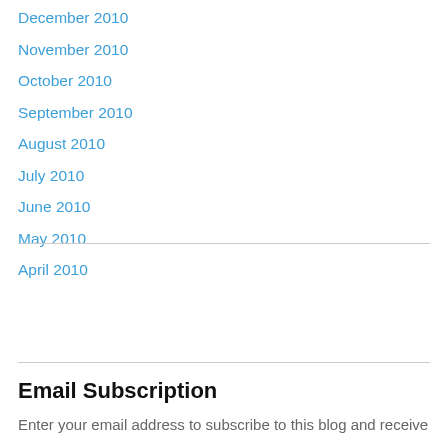December 2010
November 2010
October 2010
September 2010
August 2010
July 2010
June 2010
May 2010
April 2010
Email Subscription
Enter your email address to subscribe to this blog and receive notifications of new posts by email.